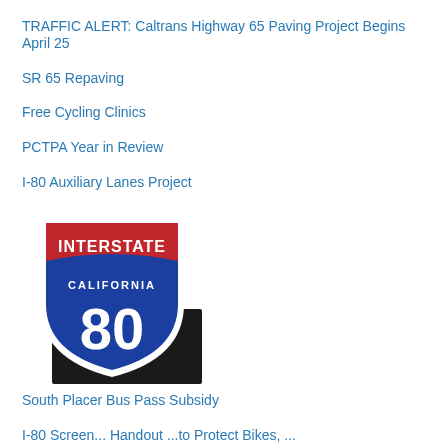TRAFFIC ALERT: Caltrans Highway 65 Paving Project Begins April 25
SR 65 Repaving
Free Cycling Clinics
PCTPA Year in Review
I-80 Auxiliary Lanes Project
[Figure (illustration): Interstate California 80 highway shield sign — red top banner reading INTERSTATE, blue shield body with CALIFORNIA text and large number 80, with a partial road surface/barrier visible behind it.]
South Placer Bus Pass Subsidy
I-80 Screen... Handout...to Protect Bikes, ...